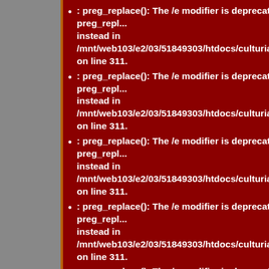: preg_replace(): The /e modifier is deprecated, use preg_replace_e instead in /mnt/web103/e2/03/51849303/htdocs/culturia/includ... on line 311.
: preg_replace(): The /e modifier is deprecated, use preg_replace_e instead in /mnt/web103/e2/03/51849303/htdocs/culturia/includ... on line 311.
: preg_replace(): The /e modifier is deprecated, use preg_replace_e instead in /mnt/web103/e2/03/51849303/htdocs/culturia/includ... on line 311.
: preg_replace(): The /e modifier is deprecated, use preg_replace_e instead in /mnt/web103/e2/03/51849303/htdocs/culturia/includ... on line 311.
: preg_replace(): The /e modifier is deprecated, use preg_replace_e instead in /mnt/web103/e2/03/51849303/htdocs/culturia/includ... on line 311.
: preg_replace(): The /e modifier is deprecated, use preg_replace_e instead in /mnt/web103/e2/03/51849303/htdocs/culturia/includ... on line 311.
: preg_replace(): The /e modifier is deprecated, use preg_replace_e instead in /mnt/web103/e2/03/51849303/htdocs/culturia/includ... on line 311.
: preg_replace(): The /e modifier is deprecated, use preg_replace_e instead in /mnt/web103/e2/03/51849303/htdocs/culturia/includ... on line 311.